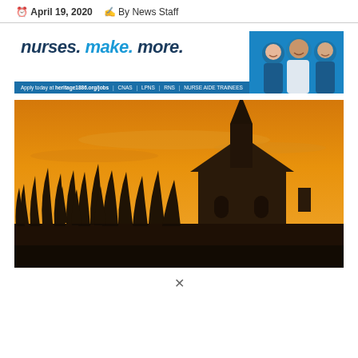April 19, 2020  By News Staff
[Figure (infographic): Advertisement banner for Heritage 1886 nursing jobs. Text reads 'nurses. make. more.' with photo of smiling nurses. Apply today at heritage1886.org/jobs | CNAs | LPNs | RNs | NURSE AIDE TRAINEES]
[Figure (photo): Silhouette of a church with a steeple against an orange sunset sky, with tall grass in the foreground]